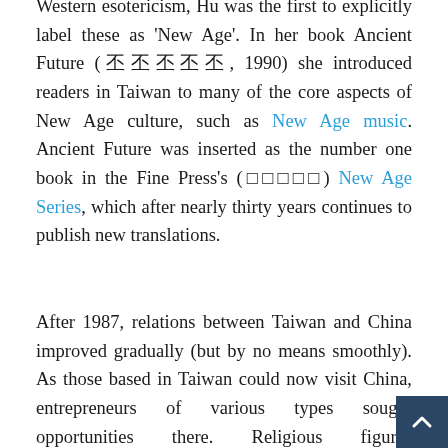Western esotericism, Hu was the first to explicitly label these as 'New Age'. In her book Ancient Future (𝗡𝗡𝗡𝗡𝗡, 1990) she introduced readers in Taiwan to many of the core aspects of New Age culture, such as New Age music. Ancient Future was inserted as the number one book in the Fine Press's (□□□□□) New Age Series, which after nearly thirty years continues to publish new translations.
After 1987, relations between Taiwan and China improved gradually (but by no means smoothly). As those based in Taiwan could now visit China, entrepreneurs of various types sought opportunities there. Religious figures were different, with notables such as the late Nan Huai-chin (□□□), Lin Qingyuan (□□□) and Hsing...